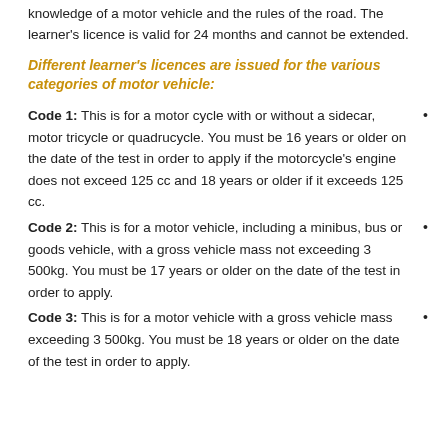knowledge of a motor vehicle and the rules of the road. The learner's licence is valid for 24 months and cannot be extended.
Different learner's licences are issued for the various categories of motor vehicle:
Code 1: This is for a motor cycle with or without a sidecar, motor tricycle or quadrucycle. You must be 16 years or older on the date of the test in order to apply if the motorcycle's engine does not exceed 125 cc and 18 years or older if it exceeds 125 cc.
Code 2: This is for a motor vehicle, including a minibus, bus or goods vehicle, with a gross vehicle mass not exceeding 3 500kg. You must be 17 years or older on the date of the test in order to apply.
Code 3: This is for a motor vehicle with a gross vehicle mass exceeding 3 500kg. You must be 18 years or older on the date of the test in order to apply.